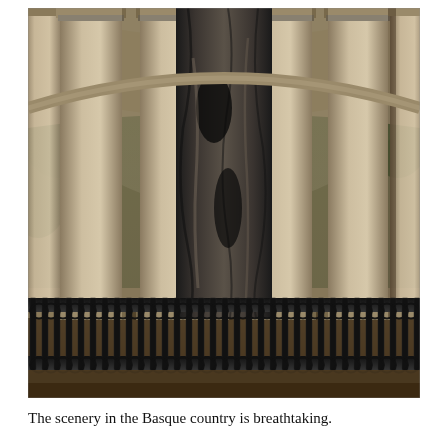[Figure (photo): Photograph of a classical stone rotunda or pavilion with tall cylindrical columns arranged in a curved row. In the center between the columns stands a large, dark, weathered tree trunk or stump with a gnarled and hollow appearance. In the foreground is an ornate wrought-iron fence with decorative scrollwork patterns. Green foliage is visible in the background through the columns.]
The scenery in the Basque country is breathtaking.